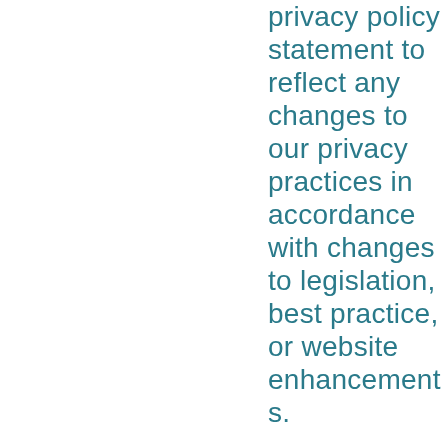privacy policy statement to reflect any changes to our privacy practices in accordance with changes to legislation, best practice, or website enhancements.